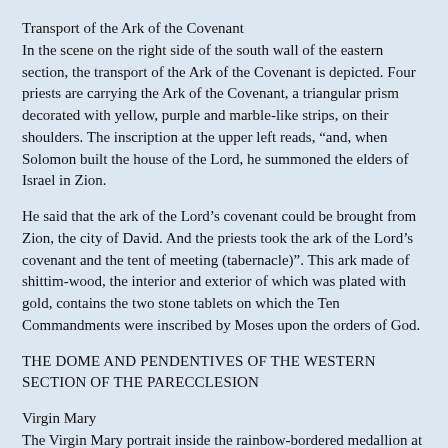Transport of the Ark of the Covenant
In the scene on the right side of the south wall of the eastern section, the transport of the Ark of the Covenant is depicted. Four priests are carrying the Ark of the Covenant, a triangular prism decorated with yellow, purple and marble-like strips, on their shoulders. The inscription at the upper left reads, “and, when Solomon built the house of the Lord, he summoned the elders of Israel in Zion.
He said that the ark of the Lord’s covenant could be brought from Zion, the city of David. And the priests took the ark of the Lord’s covenant and the tent of meeting (tabernacle)”. This ark made of shittim-wood, the interior and exterior of which was plated with gold, contains the two stone tablets on which the Ten Commandments were inscribed by Moses upon the orders of God.
THE DOME AND PENDENTIVES OF THE WESTERN SECTION OF THE PARECCLESION
Virgin Mary
The Virgin Mary portrait inside the rainbow-bordered medallion at the center of the dome, which represents the eastern section of the